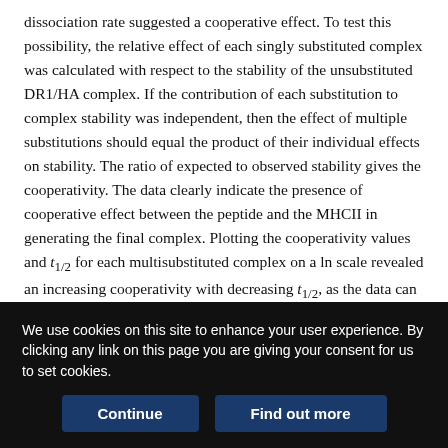dissociation rate suggested a cooperative effect. To test this possibility, the relative effect of each singly substituted complex was calculated with respect to the stability of the unsubstituted DR1/HA complex. If the contribution of each substitution to complex stability was independent, then the effect of multiple substitutions should equal the product of their individual effects on stability. The ratio of expected to observed stability gives the cooperativity. The data clearly indicate the presence of cooperative effect between the peptide and the MHCII in generating the final complex. Plotting the cooperativity values and t₁/₂ for each multisubstituted complex on a ln scale revealed an increasing cooperativity with decreasing t₁/₂, as the data can be fit to a linear regression with a negative slope (−0.71) (Fig. 2 B).
We use cookies on this site to enhance your user experience. By clicking any link on this page you are giving your consent for us to set cookies.